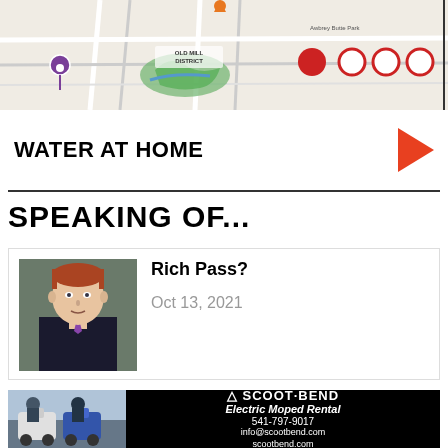[Figure (map): Partial city map showing Old Mill District area with roads, a river/park in green, purple pin marker, orange marker, red filled circle and several empty circles on the right side of the map]
WATER AT HOME
SPEAKING OF...
[Figure (photo): Headshot of a man in a dark suit with a purple tie, light skin, reddish hair, appears to be a professional portrait]
Rich Pass?
Oct 13, 2021
[Figure (photo): Two people with electric mopeds/scooters parked on a street]
SCOOT·BEND
Electric Moped Rental
541-797-9017
info@scootbend.com
scootbend.com